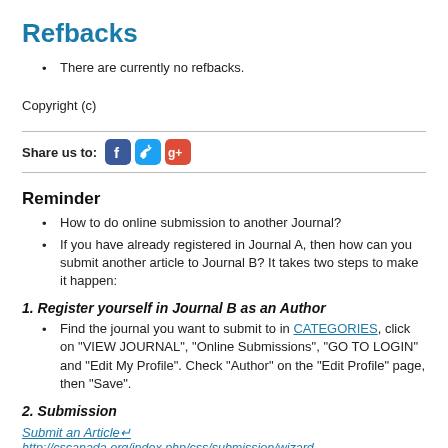Refbacks
There are currently no refbacks.
Copyright (c)
[Figure (infographic): Horizontal rule divider followed by social media share row: 'Share us to:' label with Facebook, Twitter, and Google+ icons, then another horizontal rule.]
Reminder
How to do online submission to another Journal?
If you have already registered in Journal A, then how can you submit another article to Journal B? It takes two steps to make it happen:
1. Register yourself in Journal B as an Author
Find the journal you want to submit to in CATEGORIES, click on "VIEW JOURNAL", "Online Submissions", "GO TO LOGIN" and "Edit My Profile". Check "Author" on the "Edit Profile" page, then "Save".
2. Submission
Submit an Article↵
http://cscanada.org/index.php/css/submission/wizard
Go to "User Home", and click on "Author" under the name of Journal B. You may start a New Submission by clicking on "CLICK HERE".